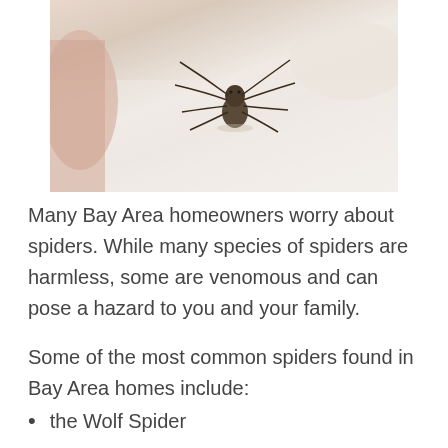[Figure (photo): Close-up photo of a large brown spider (likely a wolf spider) on a light-colored indoor floor surface, with a blurred warm-toned background.]
Many Bay Area homeowners worry about spiders. While many species of spiders are harmless, some are venomous and can pose a hazard to you and your family.
Some of the most common spiders found in Bay Area homes include:
the Wolf Spider